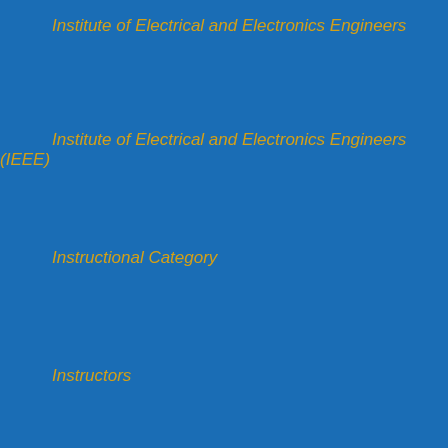Institute of Electrical and Electronics Engineers
Institute of Electrical and Electronics Engineers (IEEE)
Instructional Category
Instructors
Integration Management
Intellectual Property
International Speaker
international speaker
International Speaker